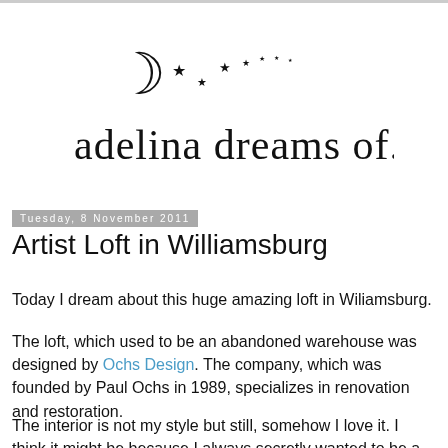[Figure (logo): Blog logo showing 'adelina dreams of...' in handwritten style with crescent moon and stars]
Tuesday, 8 November 2011
Artist Loft in Williamsburg
Today I dream about this huge amazing loft in Wiliamsburg.
The loft, which used to be an abandoned warehouse was designed by Ochs Design. The company, which was founded by Paul Ochs in 1989, specializes in renovation and restoration.
The interior is not my style but still, somehow I love it. I think it might be because I always secretly wanted to be a crazy